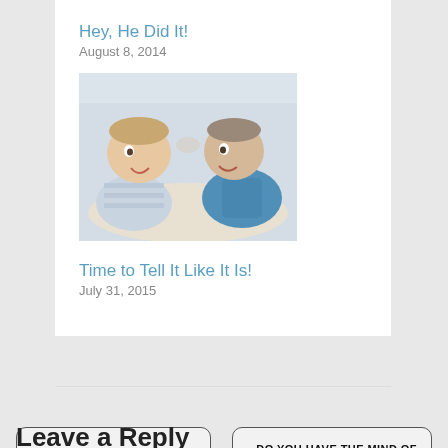Hey, He Did It!
August 8, 2014
[Figure (photo): Two young boys facing each other closely, smiling, one wearing a striped shirt and the other a blue hoodie]
Time to Tell It Like It Is!
July 31, 2015
← THE UNEXPECTED CURE
DO YOU HAVE THE MIND OF CHRIST? →
Leave a Reply